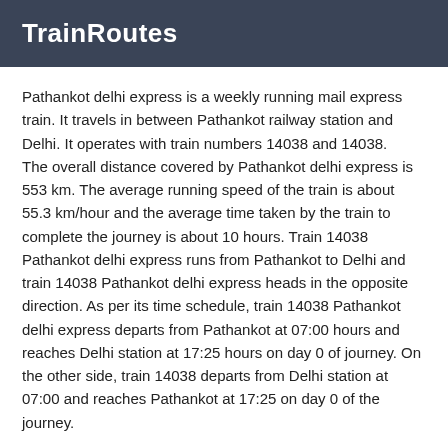TrainRoutes
Pathankot delhi express is a weekly running mail express train. It travels in between Pathankot railway station and Delhi. It operates with train numbers 14038 and 14038.
The overall distance covered by Pathankot delhi express is 553 km. The average running speed of the train is about 55.3 km/hour and the average time taken by the train to complete the journey is about 10 hours. Train 14038 Pathankot delhi express runs from Pathankot to Delhi and train 14038 Pathankot delhi express heads in the opposite direction. As per its time schedule, train 14038 Pathankot delhi express departs from Pathankot at 07:00 hours and reaches Delhi station at 17:25 hours on day 0 of journey. On the other side, train 14038 departs from Delhi station at 07:00 and reaches Pathankot at 17:25 on day 0 of the journey.